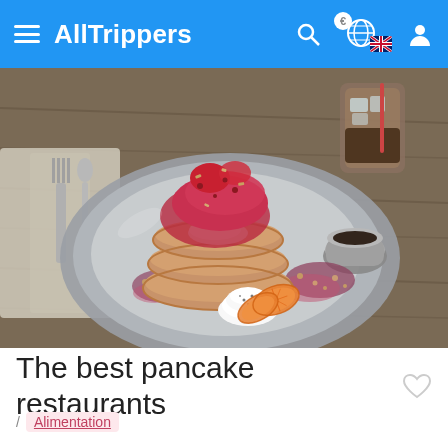AllTrippers
[Figure (photo): A stack of fluffy pancakes topped with berry compote and strawberries on a grey ceramic plate, garnished with orange slices, whipped cream, granola, and a small pot of syrup. A glass of iced coffee is visible in the background on a wooden table.]
The best pancake restaurants
/ Alimentation